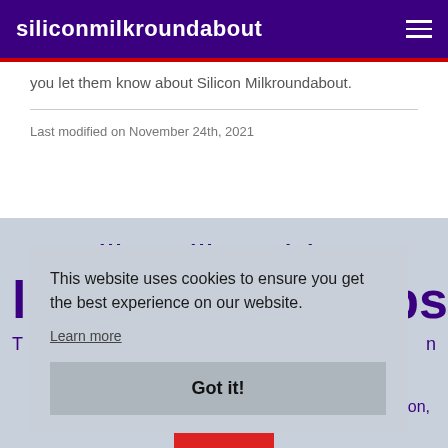siliconmilkroundabout
you let them know about Silicon Milkroundabout.
Last modified on November 24th, 2021
siliconmilkroundabout
bs
n
T ...don,
This website uses cookies to ensure you get the best experience on our website.
Learn more
Got it!